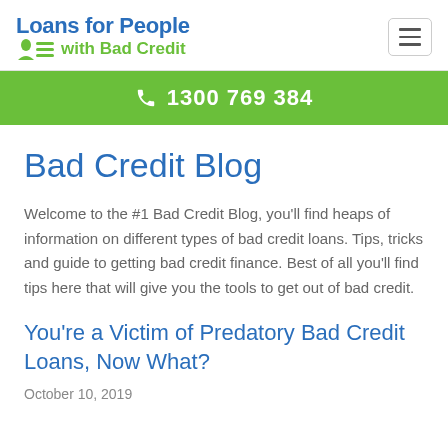Loans for People with Bad Credit
1300 769 384
Bad Credit Blog
Welcome to the #1 Bad Credit Blog, you'll find heaps of information on different types of bad credit loans. Tips, tricks and guide to getting bad credit finance. Best of all you'll find tips here that will give you the tools to get out of bad credit.
You're a Victim of Predatory Bad Credit Loans, Now What?
October 10, 2019